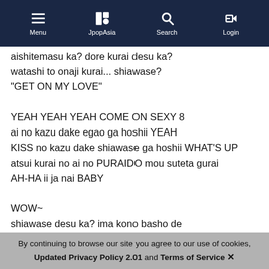Menu | JpopAsia | Search | Login
aishitemasu ka? dore kurai desu ka?
watashi to onaji kurai... shiawase?
"GET ON MY LOVE"

YEAH YEAH YEAH COME ON SEXY 8
ai no kazu dake egao ga hoshii YEAH
KISS no kazu dake shiawase ga hoshii WHAT'S UP
atsui kurai no ai no PURAIDO mou suteta gurai
AH-HA ii ja nai BABY

WOW~
shiawase desu ka? ima kono basho de
KISS shite kuremasu ka? WOW~

OH WOW~ DO YOU LOVE ME?
SO HOW MUCH DO YOU LOVE ME?
WOW~ IS THAT SAME AS ME?
"shiawase?"
By continuing to browse our site you agree to our use of cookies, Updated Privacy Policy 2.01 and Terms of Service ✕